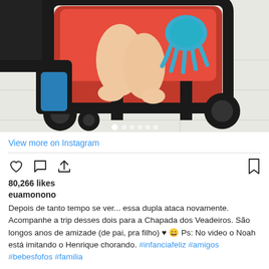[Figure (photo): A baby sitting in a red and black stroller, holding a blue crochet octopus toy. Baby's bare feet are visible. The stroller has large black wheels. Tile floor visible in background. Instagram photo carousel with navigation dots at bottom.]
View more on Instagram
80,266 likes
euamonono
Depois de tanto tempo se ver... essa dupla ataca novamente. Acompanhe a trip desses dois para a Chapada dos Veadeiros. São longos anos de amizade (de pai, pra filho) ♥ 😄 Ps: No video o Noah está imitando o Henrique chorando. #infanciafeliz #amigos #bebesfofos #familia